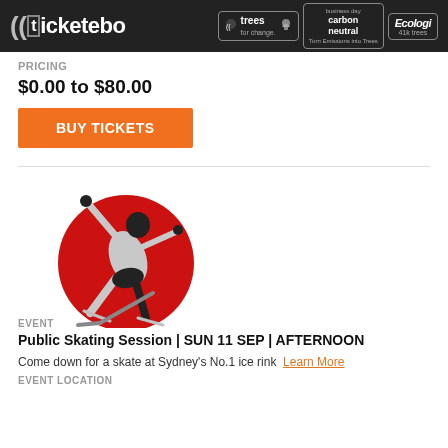ticketebo | trees for change | carbon neutral | Ecologi 41k trees
PRICING
$0.00 to $80.00
BUY TICKETS
[Figure (logo): Ice skating event logo: stylized figure skater in black and silver on a red circle background with hockey stick]
EVENT
Public Skating Session | SUN 11 SEP | AFTERNOON
Come down for a skate at Sydney's No.1 ice rink  Learn More
EVENT LOCATION